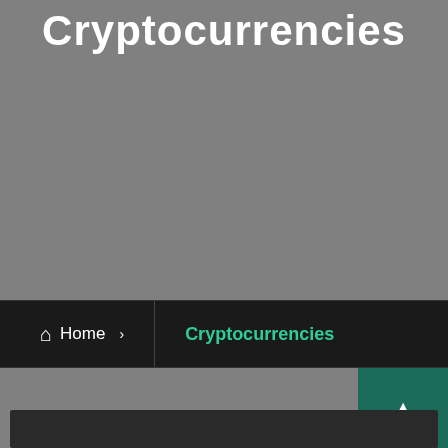Cryptocurrencies
Home › Cryptocurrencies